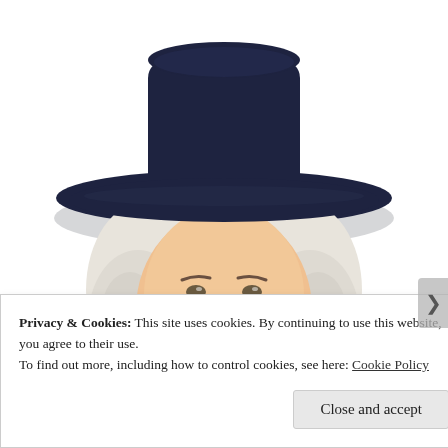[Figure (illustration): Illustration of the Quaker Oats man mascot: a smiling, rosy-cheeked man with white curly hair wearing a dark navy/black wide-brimmed Quaker hat and a dark coat with a white ruffled cravat. The image is centered and occupies the upper three-quarters of the page against a white background.]
Privacy & Cookies: This site uses cookies. By continuing to use this website, you agree to their use.
To find out more, including how to control cookies, see here: Cookie Policy
Close and accept